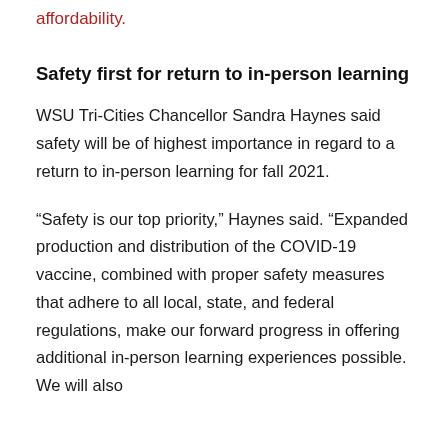affordability.
Safety first for return to in-person learning
WSU Tri-Cities Chancellor Sandra Haynes said safety will be of highest importance in regard to a return to in-person learning for fall 2021.
“Safety is our top priority,” Haynes said. “Expanded production and distribution of the COVID-19 vaccine, combined with proper safety measures that adhere to all local, state, and federal regulations, make our forward progress in offering additional in-person learning experiences possible. We will also